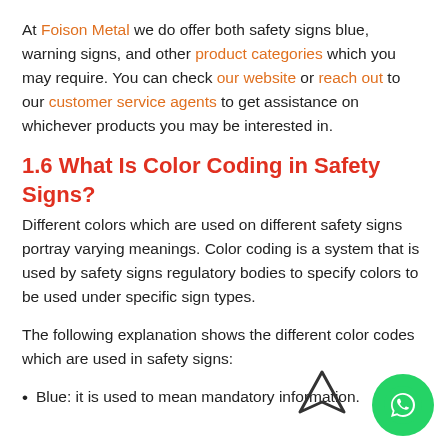At Foison Metal we do offer both safety signs blue, warning signs, and other product categories which you may require. You can check our website or reach out to our customer service agents to get assistance on whichever products you may be interested in.
1.6 What Is Color Coding in Safety Signs?
Different colors which are used on different safety signs portray varying meanings. Color coding is a system that is used by safety signs regulatory bodies to specify colors to be used under specific sign types.
The following explanation shows the different color codes which are used in safety signs:
Blue: it is used to mean mandatory information.